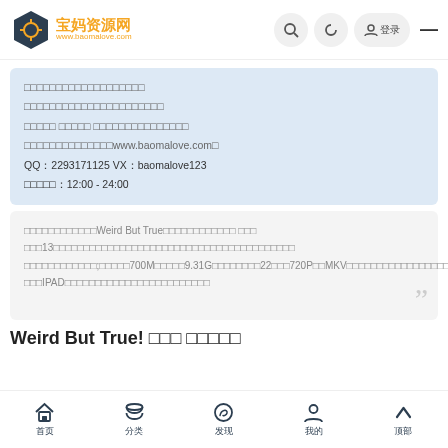宝妈资源网 www.baomalove.com
□□□□□□□□□□□□□□□□□□□
□□□□□□□□□□□□□□□□□□□□□□
□□□□□ □□□□□ □□□□□□□□□□□□□□□
□□□□□□□□□□□□□□www.baomalove.com□
QQ：2293171125 VX：baomalove123
□□□□□：12:00 - 24:00
□□□□□□□□□□□□Weird But True□□□□□□□□□□□□ □□□ □□□13□□□□□□□□□□□□□□□□□□□□□□□□□□□□□□□□□□□□□□□□;□□□□□700M□□□□□9.31G□□□□□□□□22□□□720P□□MKV□□□□□□□□□□□□□□□□□□IPAD□□□□□□□□□□□□□□□□□□□□□□□□
Weird But True! □□□ □□□□□
首页 分类 发现 我的 顶部